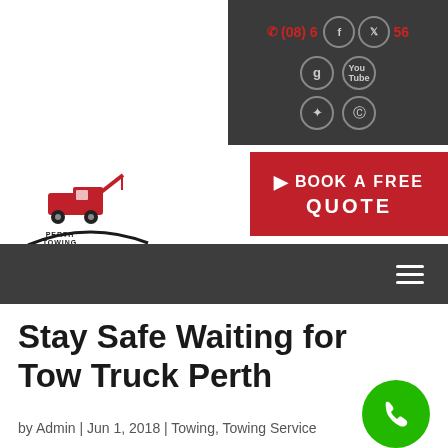[Figure (screenshot): Website header with dark background showing phone number in red and social media icons (Facebook, Twitter, Google+, YouTube, Pinterest, Instagram) as circles]
[Figure (logo): Perth Towing Service logo with red tow truck illustration and curved road]
[Figure (screenshot): Red button with arrow and text: BOOK A FREE QUOTE]
[Figure (screenshot): Dark navigation bar with hamburger menu icon on the right]
Stay Safe Waiting for Tow Truck Perth
by Admin | Jun 1, 2018 | Towing, Towing Service
[Figure (illustration): Green circle phone call button at bottom right]